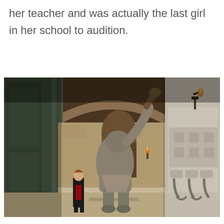her teacher and was actually the last girl in her school to audition.
[Figure (photo): A scene from Harry Potter showing a large mountain troll inside a castle bathroom/corridor with gothic arched stonework. Two students in Hogwarts robes stand nearby, one on the left near green doors and one on the right near white stone sinks. A wall-mounted torch sconce is visible on the upper right wall.]